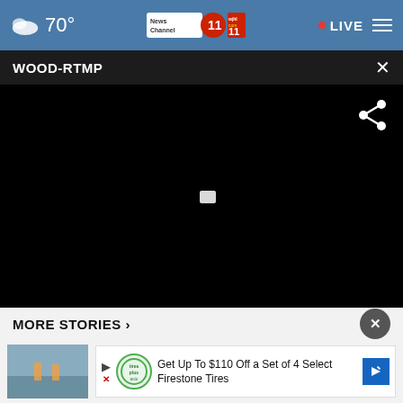70° | News Channel 11 WJHL | LIVE
WOOD-RTMP
[Figure (screenshot): Black video player area with share icon in top right and small play/pause icon in center]
MORE STORIES ›
[Figure (screenshot): Story thumbnail image showing road/construction scene]
Get Up To $110 Off a Set of 4 Select Firestone Tires